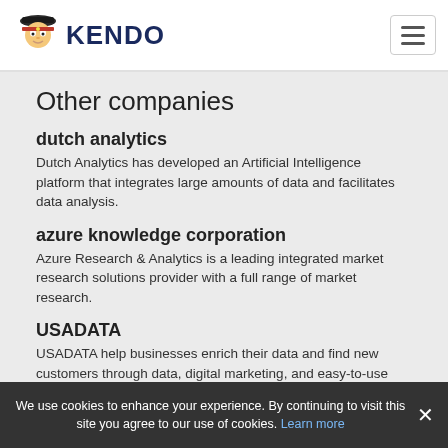KENDO
Other companies
dutch analytics
Dutch Analytics has developed an Artificial Intelligence platform that integrates large amounts of data and facilitates data analysis.
azure knowledge corporation
Azure Research & Analytics is a leading integrated market research solutions provider with a full range of market research.
USADATA
USADATA help businesses enrich their data and find new customers through data, digital marketing, and easy-to-use technology.
We use cookies to enhance your experience. By continuing to visit this site you agree to our use of cookies. Learn more